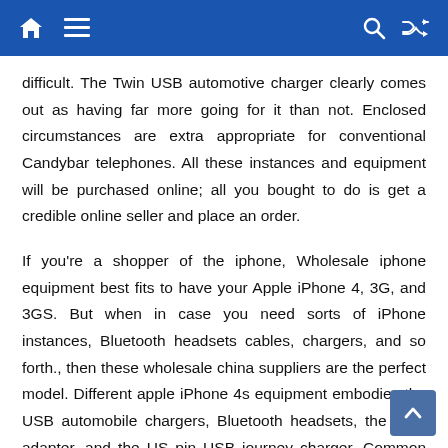Navigation bar with home, menu, search, and shuffle icons
difficult. The Twin USB automotive charger clearly comes out as having far more going for it than not. Enclosed circumstances are extra appropriate for conventional Candybar telephones. All these instances and equipment will be purchased online; all you bought to do is get a credible online seller and place an order.
If you’re a shopper of the iphone, Wholesale iphone equipment best fits to have your Apple iPhone 4, 3G, and 3GS. But when in case you need sorts of iPhone instances, Bluetooth headsets cables, chargers, and so forth., then these wholesale china suppliers are the perfect model. Different apple iPhone 4s equipment embodies the USB automobile chargers, Bluetooth headsets, the USB adapter, and the US pin USB journey charger. Common chargers will cut back e-waste, allow customers to stick with the identical charger as your smartphone for the long-term, and in addition